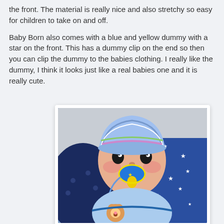the front. The material is really nice and also stretchy so easy for children to take on and off.
Baby Born also comes with a blue and yellow dummy with a star on the front. This has a dummy clip on the end so then you can clip the dummy to the babies clothing. I really like the dummy, I think it looks just like a real babies one and it is really cute.
[Figure (photo): Photo of a Baby Born doll wearing a blue and white striped hat and blue clothing with cartoon bears, with a blue and yellow dummy/pacifier in its mouth, set against a blue star-patterned blanket background.]